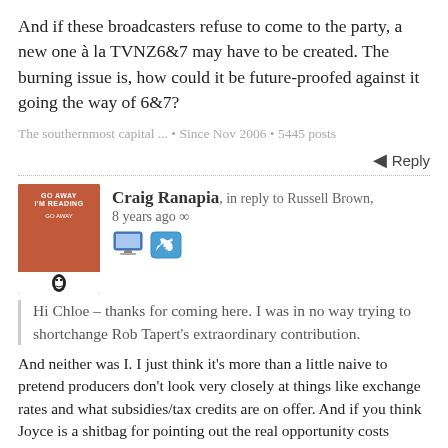And if these broadcasters refuse to come to the party, a new one à la TVNZ6&7 may have to be created. The burning issue is, how could it be future-proofed against it going the way of 6&7?
The southernmost capital ... • Since Nov 2006 • 5445 posts
Reply
Craig Ranapia, in reply to Russell Brown, 8 years ago
Hi Chloe – thanks for coming here. I was in no way trying to shortchange Rob Tapert's extraordinary contribution.
And neither was I. I just think it's more than a little naive to pretend producers don't look very closely at things like exchange rates and what subsidies/tax credits are on offer. And if you think Joyce is a shitbag for pointing out the real opportunity costs involved, how about California Governor Jerry Brown?